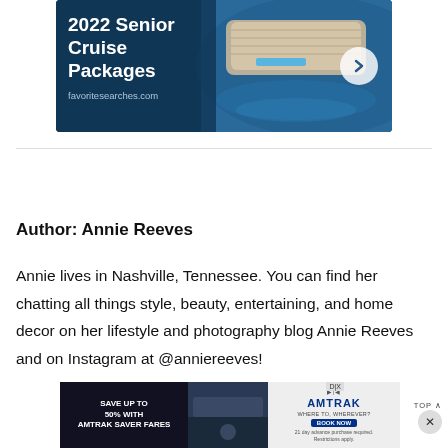[Figure (photo): Advertisement banner for 2022 Senior Cruise Packages from favoritesearches.com with cruise ship aerial photo and arrow button]
Author: Annie Reeves
Annie lives in Nashville, Tennessee. You can find her chatting all things style, beauty, entertaining, and home decor on her lifestyle and photography blog Annie Reeves and on Instagram at @anniereeves!
[Figure (photo): Advertisement banner for Amtrak Save up to 50% with Amtrak Saver Fares, 21 day advance purchase required, restrictions apply]